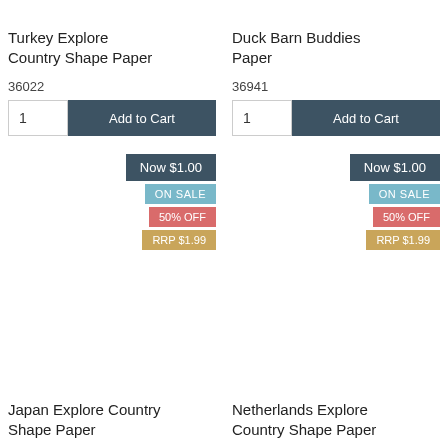Turkey Explore Country Shape Paper
36022
1  Add to Cart
Now $1.00
ON SALE
50% OFF
RRP $1.99
Duck Barn Buddies Paper
36941
1  Add to Cart
Now $1.00
ON SALE
50% OFF
RRP $1.99
Japan Explore Country Shape Paper
Netherlands Explore Country Shape Paper